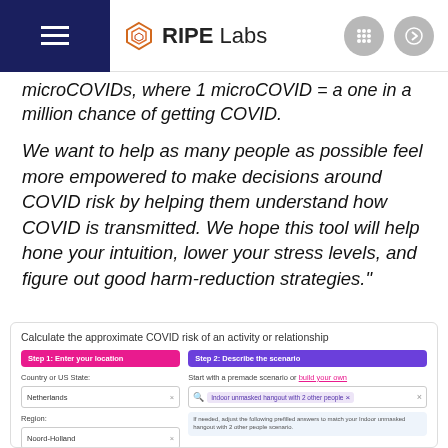RIPE Labs
microCOVIDs, where 1 microCOVID = a one in a million chance of getting COVID.
We want to help as many people as possible feel more empowered to make decisions around COVID risk by helping them understand how COVID is transmitted. We hope this tool will help hone your intuition, lower your stress levels, and figure out good harm-reduction strategies."
[Figure (screenshot): COVID risk calculator tool interface with two steps: Step 1 Enter your location (Country or US State: Netherlands, Region: Noord-Holland) and Step 2 Describe the scenario (Start with a premade scenario or build your own: Indoor unmasked hangout with 2 other people)]